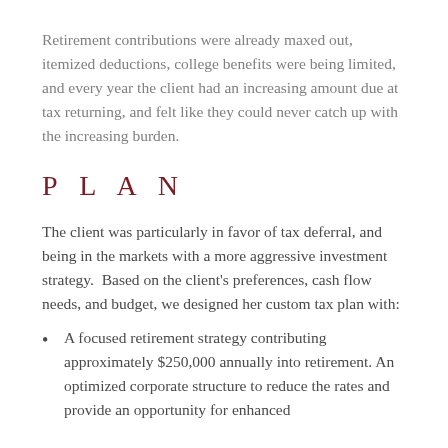Retirement contributions were already maxed out, itemized deductions, college benefits were being limited, and every year the client had an increasing amount due at tax returning, and felt like they could never catch up with the increasing burden.
P L A N
The client was particularly in favor of tax deferral, and being in the markets with a more aggressive investment strategy.  Based on the client's preferences, cash flow needs, and budget, we designed her custom tax plan with:
A focused retirement strategy contributing approximately $250,000 annually into retirement. An optimized corporate structure to reduce the rates and provide an opportunity for enhanced